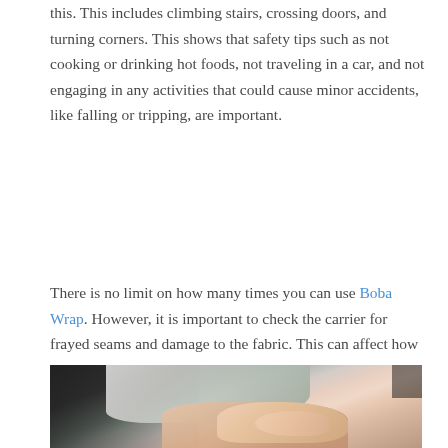this. This includes climbing stairs, crossing doors, and turning corners. This shows that safety tips such as not cooking or drinking hot foods, not traveling in a car, and not engaging in any activities that could cause minor accidents, like falling or tripping, are important.
There is no limit on how many times you can use Boba Wrap. However, it is important to check the carrier for frayed seams and damage to the fabric. This can affect how well the carrier works.
[Figure (photo): Close-up photo of a baby lying down wearing a light gray/white outfit, with an adult hand holding the baby's tiny feet, dark background]